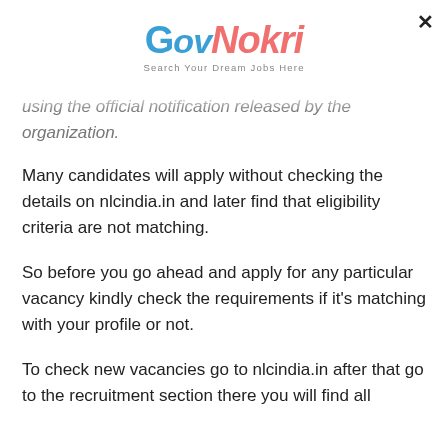GovNokri – Search Your Dream Jobs Here
using the official notification released by the organization.
Many candidates will apply without checking the details on nlcindia.in and later find that eligibility criteria are not matching.
So before you go ahead and apply for any particular vacancy kindly check the requirements if it's matching with your profile or not.
To check new vacancies go to nlcindia.in after that go to the recruitment section there you will find all